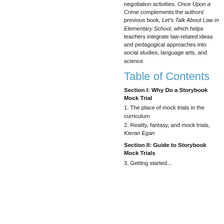negotiation activities. Once Upon a Crime complements the authors' previous book, Let's Talk About Law in Elementary School, which helps teachers integrate law-related ideas and pedagogical approaches into social studies, language arts, and science.
Table of Contents
Section I: Why Do a Storybook Mock Trial
1. The place of mock trials in the curriculum
2. Reality, fantasy, and mock trials, Kieran Egan
Section II: Guide to Storybook Mock Trials
3. Getting started...